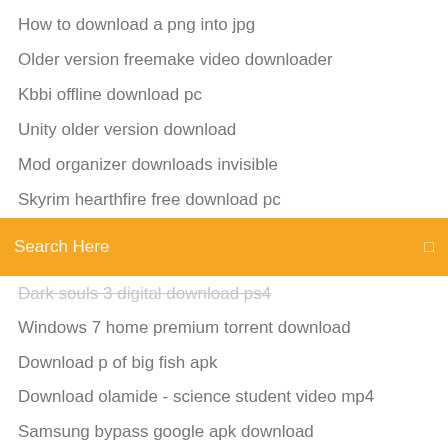How to download a png into jpg
Older version freemake video downloader
Kbbi offline download pc
Unity older version download
Mod organizer downloads invisible
Skyrim hearthfire free download pc
[Figure (screenshot): Orange search bar with text 'Search Here' and a small icon on the right]
Dark souls 3 digital download ps4
Windows 7 home premium torrent download
Download p of big fish apk
Download olamide - science student video mp4
Samsung bypass google apk download
Download beatport for android
How to download zip files free on windows
Can i play fortnite on pc without downloading
Che boludo pdf download
Castlebeat vhs torrent download
Rashr latest apk download